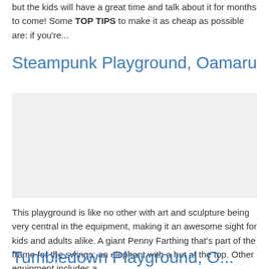but the kids will have a great time and talk about it for months to come! Some TOP TIPS to make it as cheap as possible are: if you're...
Steampunk Playground, Oamaru
[Figure (photo): Placeholder image area for Steampunk Playground photo]
This playground is like no other with art and sculpture being very central in the equipment, making it an awesome sight for kids and adults alike. A giant Penny Farthing that's part of the frame for the swings; an elephant with a hut at the top. Other equipment includes a...
Tumbledown Playground, O...